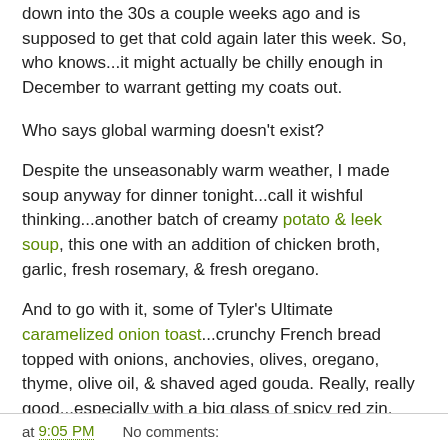down into the 30s a couple weeks ago and is supposed to get that cold again later this week. So, who knows...it might actually be chilly enough in December to warrant getting my coats out.
Who says global warming doesn't exist?
Despite the unseasonably warm weather, I made soup anyway for dinner tonight...call it wishful thinking...another batch of creamy potato & leek soup, this one with an addition of chicken broth, garlic, fresh rosemary, & fresh oregano.
And to go with it, some of Tyler's Ultimate caramelized onion toast...crunchy French bread topped with onions, anchovies, olives, oregano, thyme, olive oil, & shaved aged gouda. Really, really good...especially with a big glass of spicy red zin.
at 9:05 PM   No comments: